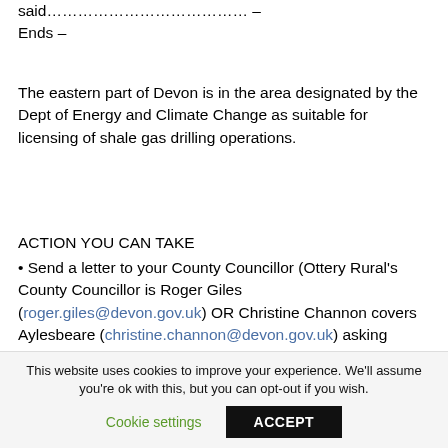said………………………………… – Ends –
The eastern part of Devon is in the area designated by the Dept of Energy and Climate Change as suitable for licensing of shale gas drilling operations.
ACTION YOU CAN TAKE
• Send a letter to your County Councillor (Ottery Rural's County Councillor is Roger Giles (roger.giles@devon.gov.uk) OR Christine Channon covers Aylesbeare (christine.channon@devon.gov.uk) asking
This website uses cookies to improve your experience. We'll assume you're ok with this, but you can opt-out if you wish.
Cookie settings    ACCEPT